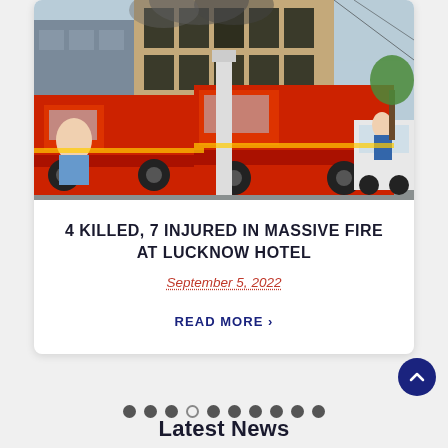[Figure (photo): Fire trucks / engines parked outside a multi-story hotel building with smoke visible. Several people standing nearby. Two large red fire engines are prominent in the foreground.]
4 KILLED, 7 INJURED IN MASSIVE FIRE AT LUCKNOW HOTEL
September 5, 2022
READ MORE ›
Latest News